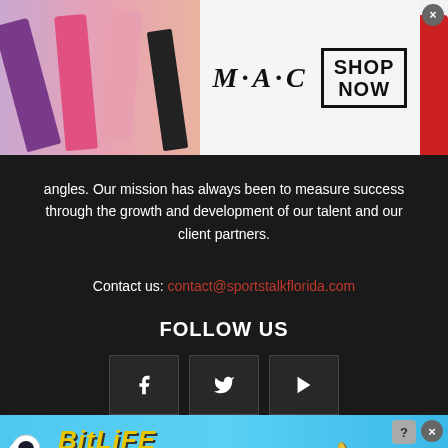[Figure (photo): MAC Cosmetics advertisement banner with lipsticks in purple, pink, and red colors, MAC logo, and SHOP NOW button. A close/X button is visible in top right corner.]
angles. Our mission has always been to measure success through the growth and development of our talent and our client partners.
Contact us: contact@sportstalkflorida.com
FOLLOW US
[Figure (infographic): Three social media icon boxes showing Facebook (f), Twitter (bird), and YouTube (play button) icons in dark gray boxes.]
[Figure (photo): BitLife advertisement with blue gradient background. Text reads: BitLife NOW WITH GOD MODE. Features lightning bolt graphic, hand/finger pointing, and a cartoon face logo. Close and question mark buttons visible.]